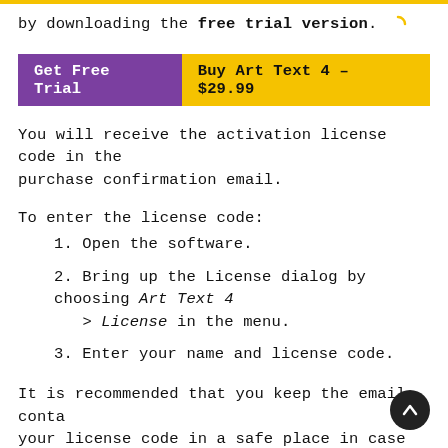by downloading the free trial version.
[Figure (other): Two buttons side by side: purple 'Get Free Trial' button and yellow 'Buy Art Text 4 – $29.99' button]
You will receive the activation license code in the purchase confirmation email.
To enter the license code:
1. Open the software.
2. Bring up the License dialog by choosing Art Text 4 > License in the menu.
3. Enter your name and license code.
It is recommended that you keep the email containing your license code in a safe place in case you re-install